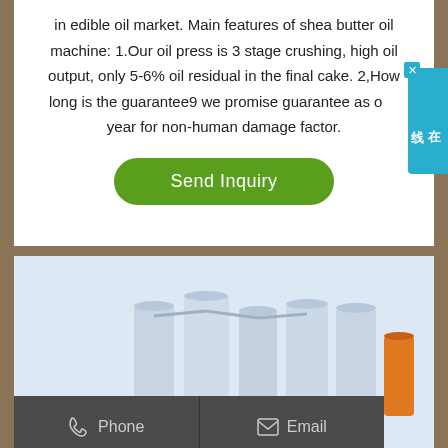in edible oil market. Main features of shea butter oil machine: 1.Our oil press is 3 stage crushing, high oil output, only 5-6% oil residual in the final cake. 2,How long is the guarantee9 we promise guarantee as one year for non-human damage factor.
Send Inquiry
[Figure (screenshot): Online consultation widget with Chinese text (在线咨询) on right side in teal/blue color]
[Figure (photo): Industrial oil processing machinery — tanks, pipes, and equipment in a factory setting]
Phone
Email
Whatsapp